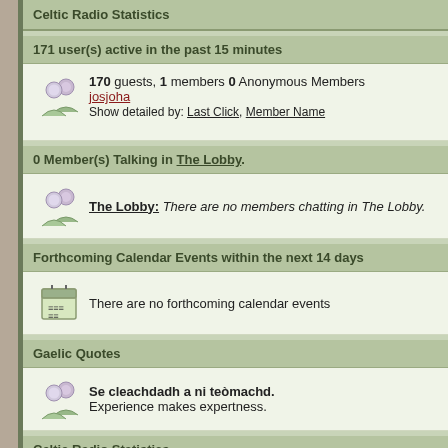Celtic Radio Statistics
171 user(s) active in the past 15 minutes
170 guests, 1 members 0 Anonymous Members
josjoha
Show detailed by: Last Click, Member Name
0 Member(s) Talking in The Lobby.
The Lobby: There are no members chatting in The Lobby.
Forthcoming Calendar Events within the next 14 days
There are no forthcoming calendar events
Gaelic Quotes
Se cleachdadh a ni teòmachd.
Experience makes expertness.
Celtic Radio Statistics
Our members have made a total of 303,701 posts
We have 44952 registered members
The newest member is CelticRadio47703
Most users ever online was 2,229 on 12-Dec-2021, 01:54 PM
Tell a Friend about Celtic Radio!
Recipient Email:  Your Name: